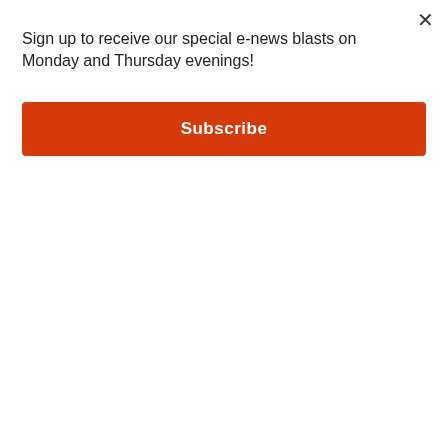Sign up to receive our special e-news blasts on Monday and Thursday evenings!
Subscribe
[Figure (photo): Two partially visible image cards: left card shows 'Out of Control' text over a brownish image, right card shows 'and-away!' text over a gray image]
Sponsored
[Figure (photo): Photo of a person in military camouflage uniform and hat, posing against what appears to be appliances or equipment]